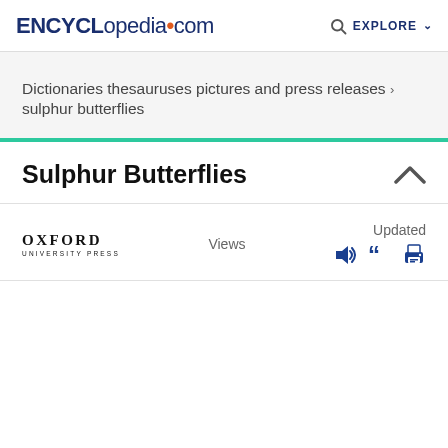ENCYCLopedia.com   EXPLORE
Dictionaries thesauruses pictures and press releases > sulphur butterflies
Sulphur Butterflies
OXFORD UNIVERSITY PRESS   Views   Updated